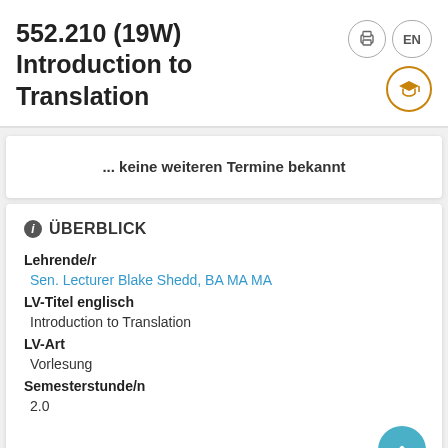552.210 (19W) Introduction to Translation
... keine weiteren Termine bekannt
i ÜBERBLICK
Lehrende/r
Sen. Lecturer Blake Shedd, BA MA MA
LV-Titel englisch
Introduction to Translation
LV-Art
Vorlesung
Semesterstunde/n
2.0